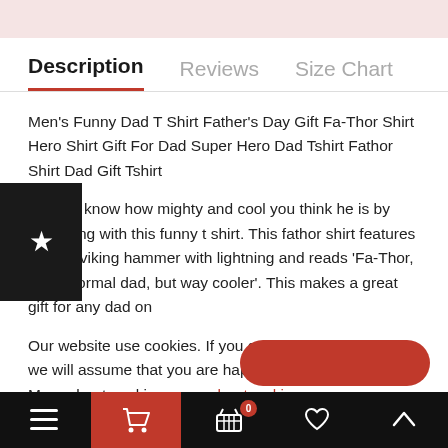[Figure (screenshot): Pink banner at top of page]
Description   Reviews   Size Chart
Men's Funny Dad T Shirt Father's Day Gift Fa-Thor Shirt Hero Shirt Gift For Dad Super Hero Dad Tshirt Fathor Shirt Dad Gift Tshirt
Let dad know how mighty and cool you think he is by surprising with this funny t shirt. This fathor shirt features a large viking hammer with lightning and reads 'Fa-Thor, like a normal dad, but way cooler'. This makes a great gift for any dad on
Our website use cookies. If you continue to use this site we will assume that you are happy with this.
More about cookies: www.aboutcookies.org
☰  🛒  0  🛍  ♡  ∧